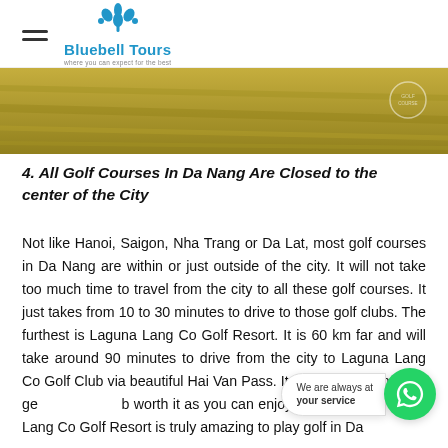Bluebell Tours — where you can expect for the best
[Figure (photo): Aerial/overhead photo of a golf course fairway showing golden-green grass]
4. All Golf Courses In Da Nang Are Closed to the center of the City
Not like Hanoi, Saigon, Nha Trang or Da Lat, most golf courses in Da Nang are within or just outside of the city. It will not take too much time to travel from the city to all these golf courses. It just takes from 10 to 30 minutes to drive to those golf clubs. The furthest is Laguna Lang Co Golf Resort. It is 60 km far and will take around 90 minutes to drive from the city to Laguna Lang Co Golf Club via beautiful Hai Van Pass. It can be a bit longer to ge... b... worth it as you can enjoy a... d... a Lang Co Golf Resort is truly amazing to play golf in Da